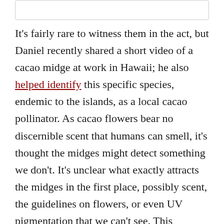It's fairly rare to witness them in the act, but Daniel recently shared a short video of a cacao midge at work in Hawaii; he also helped identify this specific species, endemic to the islands, as a local cacao pollinator. As cacao flowers bear no discernible scent that humans can smell, it's thought the midges might detect something we don't. It's unclear what exactly attracts the midges in the first place, possibly scent, the guidelines on flowers, or even UV pigmentation that we can't see. This behavior is the subject of much of Dr. Sarah's study – in addition to fieldwork, breeding midges and re-creating some of the farm conditions in a lab. The females, primarily,